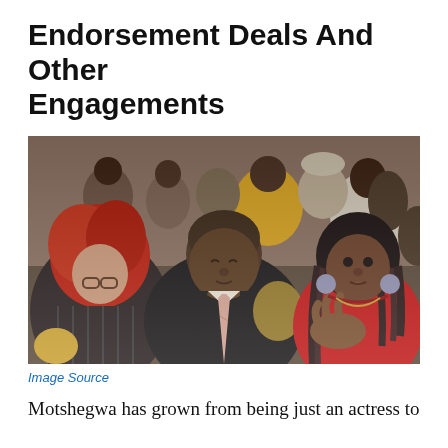Endorsement Deals And Other Engagements
[Figure (photo): Three people seated in an audience: a woman with red curly hair and glasses on the left looking down, a bald man in a black suit with a pink tie in the center with eyes closed, and a woman with long braided hair wearing a red outfit on the right gesturing with her hand. A crowd is visible in the background.]
Image Source
Motshegwa has grown from being just an actress to